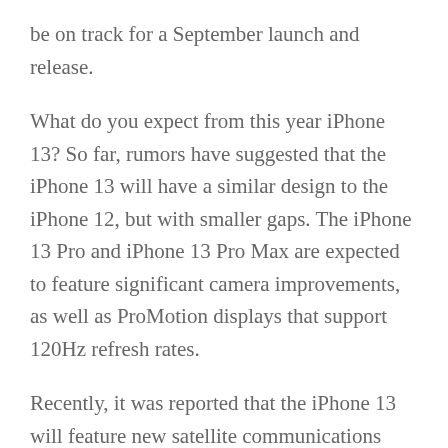be on track for a September launch and release.
What do you expect from this year iPhone 13? So far, rumors have suggested that the iPhone 13 will have a similar design to the iPhone 12, but with smaller gaps. The iPhone 13 Pro and iPhone 13 Pro Max are expected to feature significant camera improvements, as well as ProMotion displays that support 120Hz refresh rates.
Recently, it was reported that the iPhone 13 will feature new satellite communications technology. These features could be enabled in the future with a software update that allows users to send emergency messages in areas where there is no cellphone service.